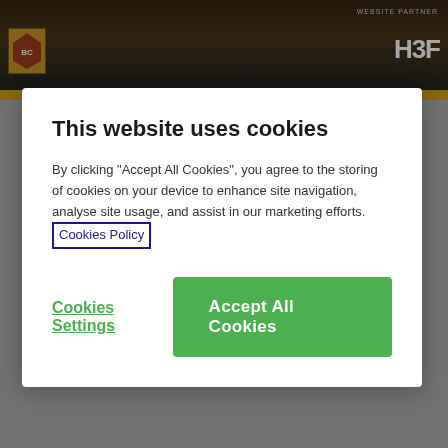[Figure (screenshot): Website screenshot showing a Bradford City AFC football club website with a stadium header image, HBF website partner logo, and a cookie consent modal overlay. Below the modal, 'SUCCESS' heading, date '28 January 2017', and a football photo of players celebrating in maroon and yellow striped shirts are partially visible.]
This website uses cookies
By clicking "Accept All Cookies", you agree to the storing of cookies on your device to enhance site navigation, analyse site usage, and assist in our marketing efforts.  Cookies Policy
Cookies Settings
Accept All Cookies
SUCCESS
28 January 2017